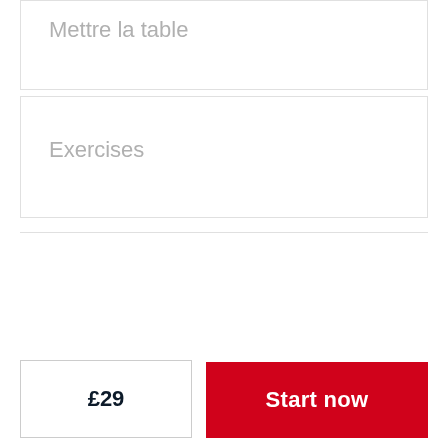Mettre la table
Exercises
£29
Start now